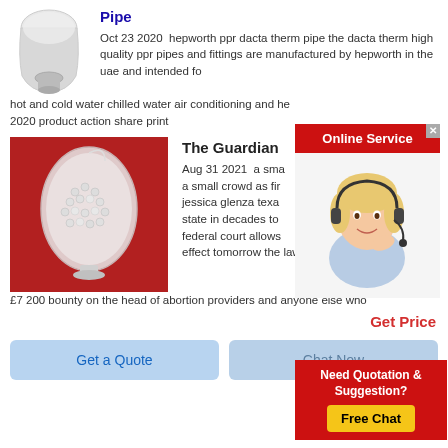[Figure (photo): Product photo: vase-like container with white powder/pellets on white background]
Pipe
Oct 23 2020  hepworth ppr dacta therm pipe the dacta therm high quality ppr pipes and fittings are manufactured by hepworth in the uae and intended fo hot and cold water chilled water air conditioning and he 2020 product action share print
[Figure (photo): Product photo: egg-shaped glass container filled with white pellets on red background]
The Guardian
Aug 31 2021  a sma a small crowd as fir jessica glenza texa state in decades to federal court allows effect tomorrow the law in effect puts a 10 000 £7 200 bounty on the head of abortion providers and anyone else who
[Figure (photo): Online Service popup with woman wearing headset]
Need Quotation & Suggestion?
Free Chat
Get Price
Get a Quote
Chat Now